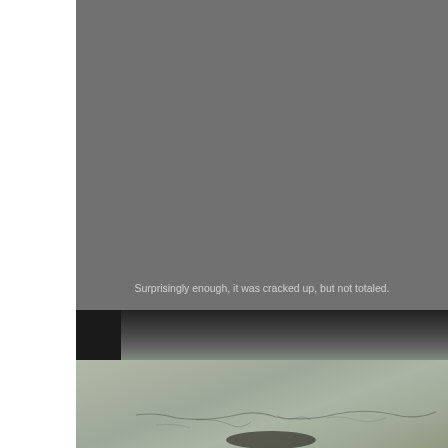[Figure (photo): Top portion is a solid gray background with white/light gray caption text overlaid near the bottom reading 'Surprisingly enough, it was cracked up, but not totaled.' Bottom portion shows a close-up photograph of cracked and damaged concrete or stone surface, with a dark area at the top left suggesting a tire or vehicle component above the debris.]
Surprisingly enough, it was cracked up, but not totaled.